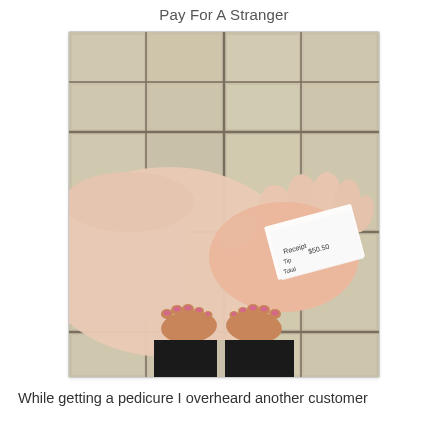Pay For A Stranger
[Figure (photo): A person holding a small receipt in their hand, with their bare feet visible on beige tile floor below. The receipt shows partial text including 'Receipt', '$50.50', 'Tip', 'Total'. The person's feet have red/pink toenails and they are wearing black pants.]
While getting a pedicure I overheard another customer